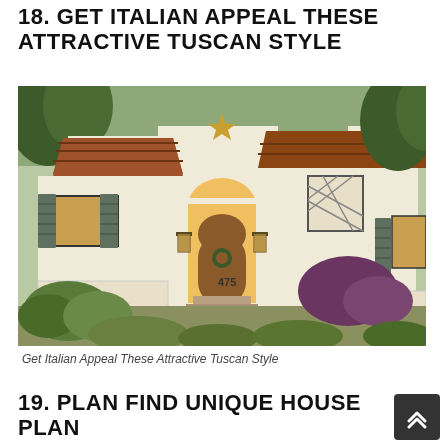18. GET ITALIAN APPEAL THESE ATTRACTIVE TUSCAN STYLE
[Figure (photo): Exterior photo of a Tuscan-style home with cream stucco walls, terracotta tile roofs, arched wooden front door with number 475, lantern sconces, lattice windows, green shutters, and lush landscaping]
Get Italian Appeal These Attractive Tuscan Style
19. PLAN FIND UNIQUE HOUSE PLAN